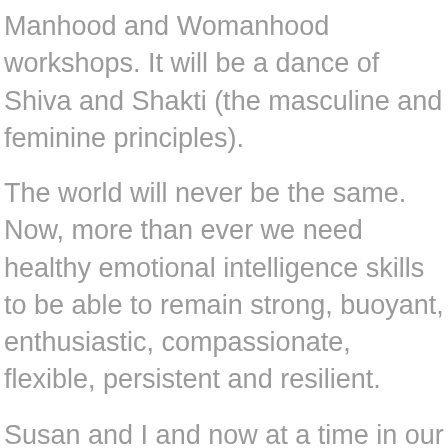Manhood and Womanhood workshops. It will be a dance of Shiva and Shakti (the masculine and feminine principles).
The world will never be the same. Now, more than ever we need healthy emotional intelligence skills to be able to remain strong, buoyant, enthusiastic, compassionate, flexible, persistent and resilient.
Susan and I and now at a time in our lives when our purpose is to train Breathwork coaches to make the world a more loving place by help their clients heal, open their hearts and clear the blocks to living their soul's purpose. We'd be delighted if your purpose is to step up and make a bigger difference in the world by